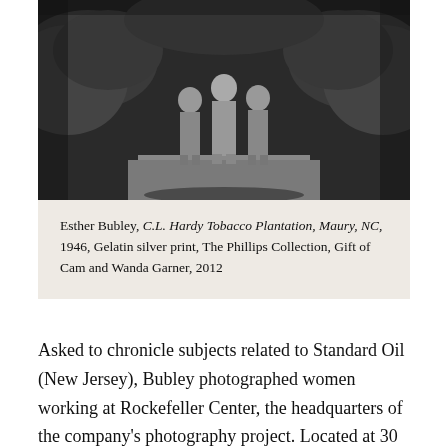[Figure (photo): Black and white photograph of people standing outdoors, surrounded by foliage and vegetation, on what appears to be a wooden platform or path.]
Esther Bubley, C.L. Hardy Tobacco Plantation, Maury, NC, 1946, Gelatin silver print, The Phillips Collection, Gift of Cam and Wanda Garner, 2012
Asked to chronicle subjects related to Standard Oil (New Jersey), Bubley photographed women working at Rockefeller Center, the headquarters of the company's photography project. Located at 30 Rockefeller Plaza, the office became a meeting place for the photographers, who freelanced for $150 a week plus expenses.